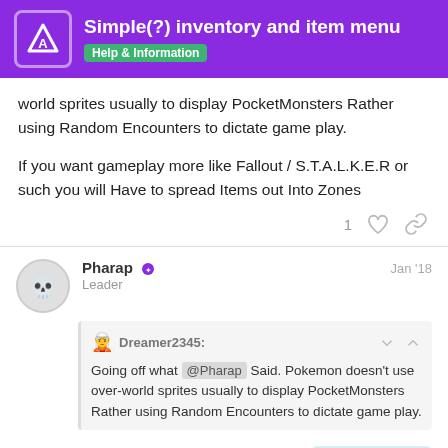Simple(?) inventory and item menu — Help & Information
world sprites usually to display PocketMonsters Rather using Random Encounters to dictate game play.
If you want gameplay more like Fallout / S.T.A.L.K.E.R or such you will Have to spread Items out Into Zones
1 ♡ 🔗
Pharap  Leader  Jan '18
Dreamer2345: Going off what @Pharap Said. Pokemon doesn't use over-world sprites usually to display PocketMonsters Rather using Random Encounters to dictate game play.
Fair point.
221 / 380